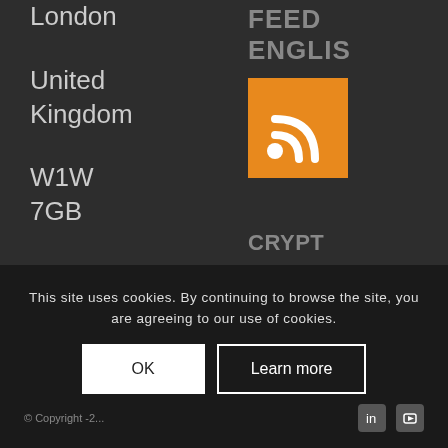London
United Kingdom
W1W 7GB
Tel: +44 2080891...
FEED ENGLISH
[Figure (logo): Orange RSS feed icon with white WiFi/RSS symbol]
CRYPTO ADVANCED NOTIFICATIONS
Subscribe to notifications
This site uses cookies. By continuing to browse the site, you are agreeing to our use of cookies.
OK
Learn more
© Copyright -2...